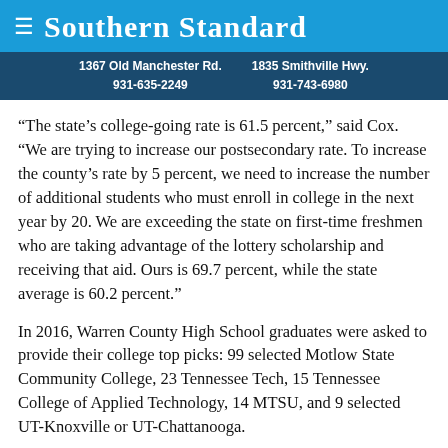Southern Standard
1367 Old Manchester Rd.   1835 Smithville Hwy.
931-635-2249              931-743-6980
“The state’s college-going rate is 61.5 percent,” said Cox. “We are trying to increase our postsecondary rate. To increase the county’s rate by 5 percent, we need to increase the number of additional students who must enroll in college in the next year by 20. We are exceeding the state on first-time freshmen who are taking advantage of the lottery scholarship and receiving that aid. Ours is 69.7 percent, while the state average is 60.2 percent.”
In 2016, Warren County High School graduates were asked to provide their college top picks: 99 selected Motlow State Community College, 23 Tennessee Tech, 15 Tennessee College of Applied Technology, 14 MTSU, and 9 selected UT-Knoxville or UT-Chattanooga.